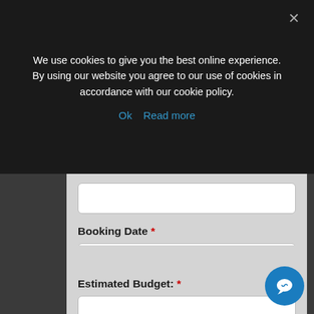We use cookies to give you the best online experience. By using our website you agree to our use of cookies in accordance with our cookie policy.
Ok   Read more
Booking Date *
Event Type *
Estimated Budget: *